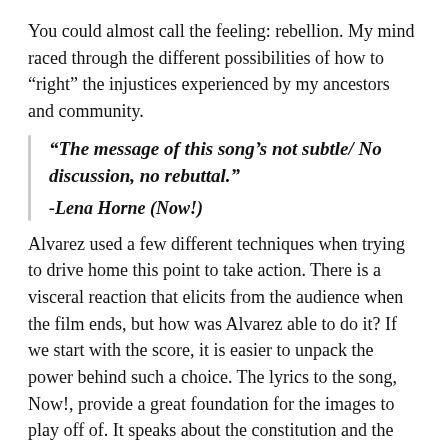You could almost call the feeling: rebellion. My mind raced through the different possibilities of how to “right” the injustices experienced by my ancestors and community.
“The message of this song’s not subtle/ No discussion, no rebuttal.”
-Lena Horne (Now!)
Alvarez used a few different techniques when trying to drive home this point to take action. There is a visceral reaction that elicits from the audience when the film ends, but how was Alvarez able to do it? If we start with the score, it is easier to unpack the power behind such a choice. The lyrics to the song, Now!, provide a great foundation for the images to play off of. It speaks about the constitution and the alleged freedom owed to